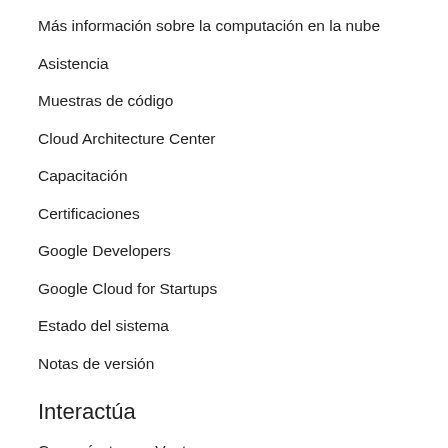Más información sobre la computación en la nube
Asistencia
Muestras de código
Cloud Architecture Center
Capacitación
Certificaciones
Google Developers
Google Cloud for Startups
Estado del sistema
Notas de versión
Interactúa
Comunícate con Ventas
Busca un socio